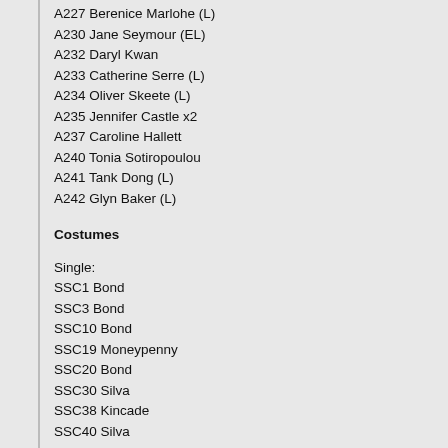A227 Berenice Marlohe (L)
A230 Jane Seymour (EL)
A232 Daryl Kwan
A233 Catherine Serre (L)
A234 Oliver Skeete (L)
A235 Jennifer Castle x2
A237 Caroline Hallett
A240 Tonia Sotiropoulou
A241 Tank Dong (L)
A242 Glyn Baker (L)
Costumes
Single:
SSC1 Bond
SSC3 Bond
SSC10 Bond
SSC19 Moneypenny
SSC20 Bond
SSC30 Silva
SSC38 Kincade
SSC40 Silva
Dual:
SCDC5 Bond & M
SCDC7 Silva & M
Triple:
STC1 Patrice